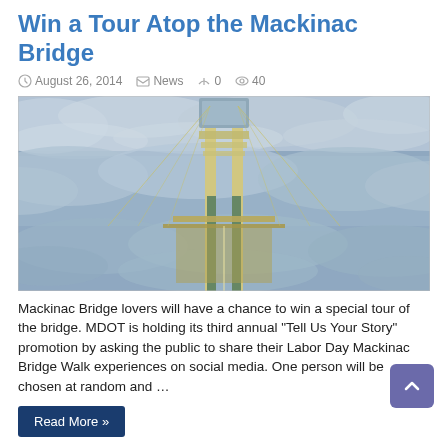Win a Tour Atop the Mackinac Bridge
August 26, 2014  News  0  40
[Figure (photo): Aerial photograph of the Mackinac Bridge tower rising above a thick layer of clouds, with the bridge deck visible below stretching into fog.]
Mackinac Bridge lovers will have a chance to win a special tour of the bridge. MDOT is holding its third annual “Tell Us Your Story” promotion by asking the public to share their Labor Day Mackinac Bridge Walk experiences on social media. One person will be chosen at random and …
Read More »